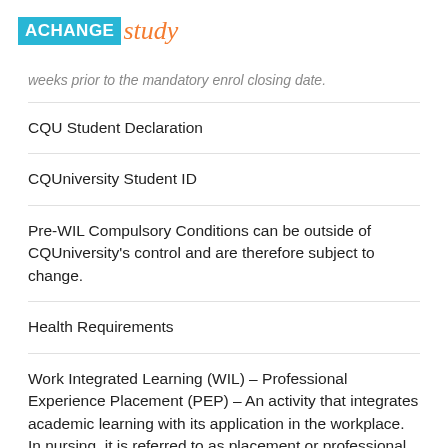ACHANGE study
weeks prior to the mandatory enrol closing date.
CQU Student Declaration
CQUniversity Student ID
Pre-WIL Compulsory Conditions can be outside of CQUniversity's control and are therefore subject to change.
Health Requirements
Work Integrated Learning (WIL) – Professional Experience Placement (PEP) – An activity that integrates academic learning with its application in the workplace. In nursing, it is referred to as placement or professional experience